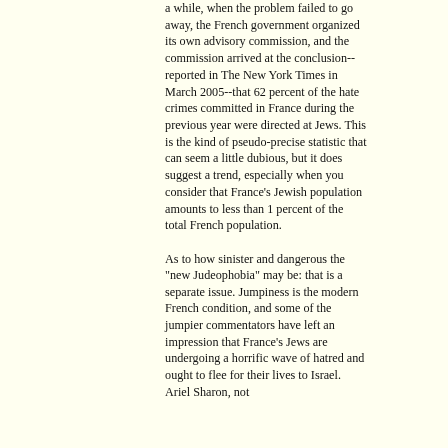a while, when the problem failed to go away, the French government organized its own advisory commission, and the commission arrived at the conclusion--reported in The New York Times in March 2005--that 62 percent of the hate crimes committed in France during the previous year were directed at Jews. This is the kind of pseudo-precise statistic that can seem a little dubious, but it does suggest a trend, especially when you consider that France's Jewish population amounts to less than 1 percent of the total French population.
As to how sinister and dangerous the "new Judeophobia" may be: that is a separate issue. Jumpiness is the modern French condition, and some of the jumpier commentators have left an impression that France's Jews are undergoing a horrific wave of hatred and ought to flee for their lives to Israel. Ariel Sharon, not